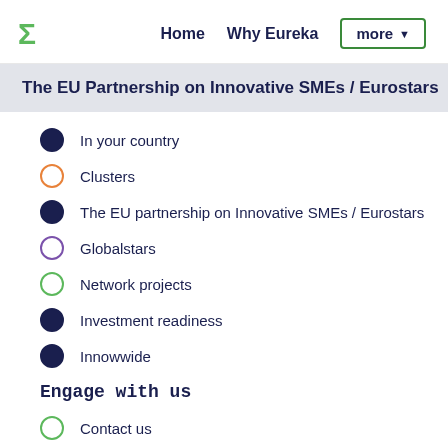Home  Why Eureka  more ▼
The EU Partnership on Innovative SMEs / Eurostars  Fu
In your country
Clusters
The EU partnership on Innovative SMEs / Eurostars
Globalstars
Network projects
Investment readiness
Innowwide
Engage with us
Contact us
Public authority participation